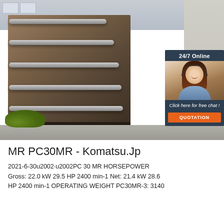[Figure (photo): Photo of metal retail display shelving unit with multiple horizontal silver/chrome shelves on a dark brown/grey panel body, photographed outdoors. Overlaid with a 24/7 Online customer service chat widget showing a female agent with headset, and an orange QUOTATION button.]
MR PC30MR - Komatsu.Jp
2021-6-30u2002·u2002PC 30 MR HORSEPOWER Gross: 22.0 kW 29.5 HP 2400 min-1 Net: 21.4 kW 28.6 HP 2400 min-1 OPERATING WEIGHT PC30MR-3: 3140